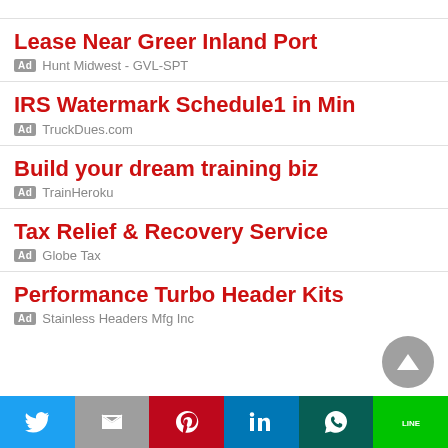Lease Near Greer Inland Port
Ad Hunt Midwest - GVL-SPT
IRS Watermark Schedule1 in Min
Ad TruckDues.com
Build your dream training biz
Ad TrainHeroku
Tax Relief & Recovery Service
Ad Globe Tax
Performance Turbo Header Kits
Ad Stainless Headers Mfg Inc